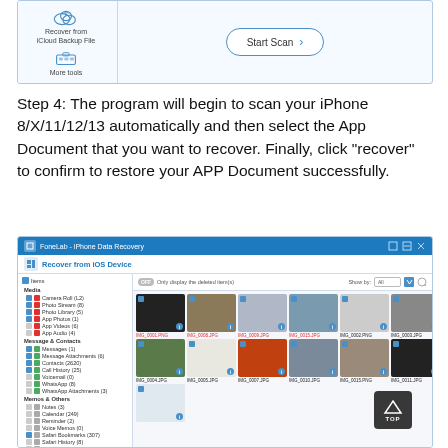[Figure (screenshot): Partial screenshot of FoneLab iPhone Data Recovery software showing 'Recover from iCloud Backup File' option, 'More tools' option, and a 'Start Scan' button on the right side]
Step 4: The program will begin to scan your iPhone 8/X/11/12/13 automatically and then select the App Document that you want to recover. Finally, click “recover” to confirm to restore your APP Document successfully.
[Figure (screenshot): Screenshot of FoneLab - iPhone Data Recovery software showing the 'Recover from iOS Device' interface with a left sidebar listing Media (Camera Roll, Photo Stream, Photo Library, App Photos, App Videos, App Audio), Message & Contacts (Messages, Message Attachments, Contacts, Call History, Voicemail, WhatsApp, WhatsApp Attachments), Memos & Others (Notes, Calendar, Reminder, Voice Memos, Safari Bookmarks, Safari History, App Document). The main area shows photo thumbnails in a grid with filenames like IMG_0001.PNG, IMG_0008.JPG, IMG_0009.JPG, IMG_0015.JPG, IMG_0002.PNG, IMG_0003.JPG and more.]